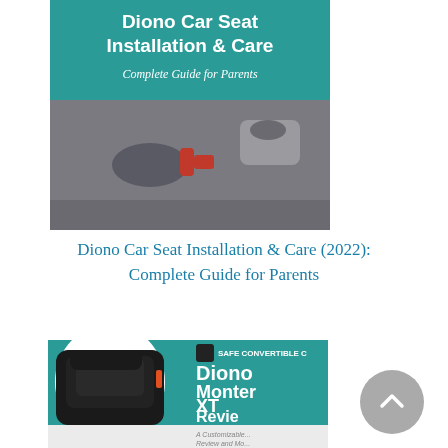[Figure (photo): Book/guide cover for 'Diono Car Seat Installation & Care' with teal/green background, bold white text reading 'Diono Car Seat Installation & Care' and subtitle 'Complete Guide for Parents', with a photo of car seat hardware (buckle/latch) below]
Diono Car Seat Installation & Care (2022): Complete Guide for Parents
[Figure (photo): Thumbnail image of a black car seat (Diono Monterey XT) on left, with teal background on right showing 'Safe Convertible C...' logo and text 'Diono Monterey XT Review', with a faded reflection below]